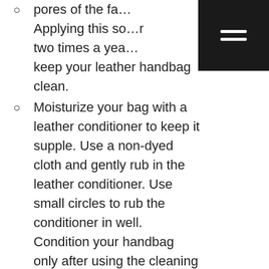…pores of the fa… Applying this so…r two times a yea… keep your leather handbag clean.
Moisturize your bag with a leather conditioner to keep it supple. Use a non-dyed cloth and gently rub in the leather conditioner. Use small circles to rub the conditioner in well. Condition your handbag only after using the cleaning solution first.
Remove stains as soon as you notice them. Organic stains from food or blood can often be removed with chalk powder. Crush white chalk, let it sit on the stain…